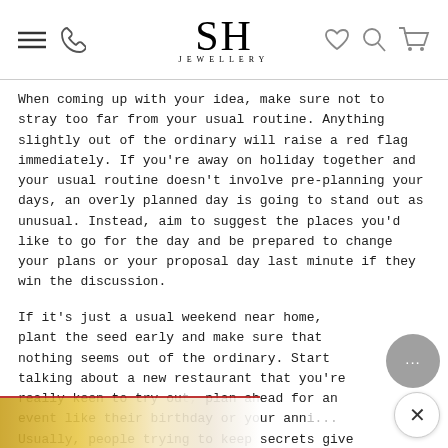SH JEWELLERY — navigation header with menu, phone, heart, search, cart icons
When coming up with your idea, make sure not to stray too far from your usual routine. Anything slightly out of the ordinary will raise a red flag immediately. If you're away on holiday together and your usual routine doesn't involve pre-planning your days, an overly planned day is going to stand out as unusual. Instead, aim to suggest the places you'd like to go for the day and be prepared to change your plans or your proposal day last minute if they win the discussion.
If it's just a usual weekend near home, plant the seed early and make sure that nothing seems out of the ordinary. Start talking about a new restaurant that you're really keen to try out, plan ahead for an event like their birthday or your ann... Usually, people trying to keep secrets give it all away w... the... you...